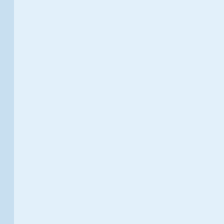| Date | Name |
| --- | --- |
| 05.05.2015 | Pieter V… |
| 27.01.2015 | Manue… |
| 27.01.2015 | Alexan… |
| 13.01.2015 | Alexandr… |
| 13.01.2015 | Sören … |
|  |  |